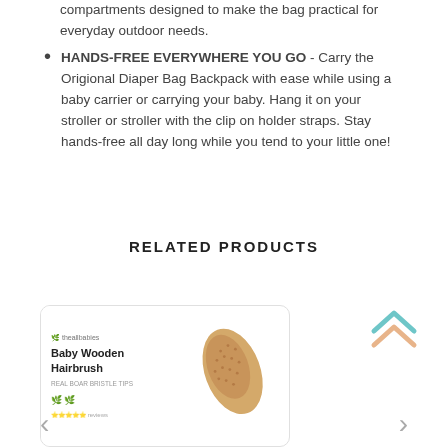compartments designed to make the bag practical for everyday outdoor needs.
HANDS-FREE EVERYWHERE YOU GO - Carry the Origional Diaper Bag Backpack with ease while using a baby carrier or carrying your baby. Hang it on your stroller or stroller with the clip on holder straps. Stay hands-free all day long while you tend to your little one!
RELATED PRODUCTS
[Figure (photo): Product image of a Baby Wooden Hairbrush with a natural bristle wooden brush shown alongside packaging label.]